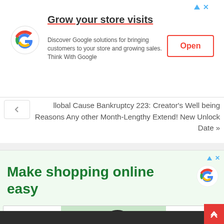[Figure (screenshot): Google ad banner: 'Grow your store visits' with Google logo, text about discovering Google solutions, and red 'Open' button]
Global Cause Bankruptcy 223: Creator’s Well being Reasons Any other Month-Lengthy Extend! New Unlock Date »
[Figure (screenshot): Google ad: 'Make shopping online easy' with Google logo and image of a man with a tablet on green background]